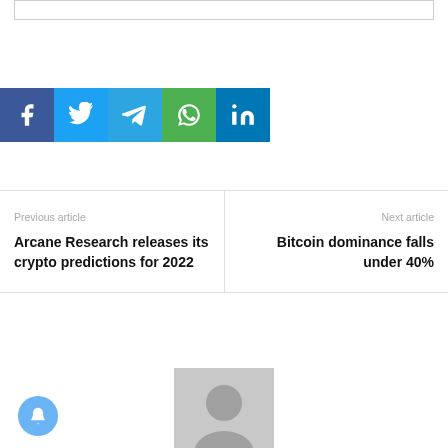[Figure (other): Social share buttons row: Facebook (dark blue), Twitter (light blue), Telegram (blue), WhatsApp (green), LinkedIn (dark blue)]
Previous article
Arcane Research releases its crypto predictions for 2022
Next article
Bitcoin dominance falls under 40%
[Figure (photo): Author avatar placeholder - grey silhouette of a person]
Martin Hoffman